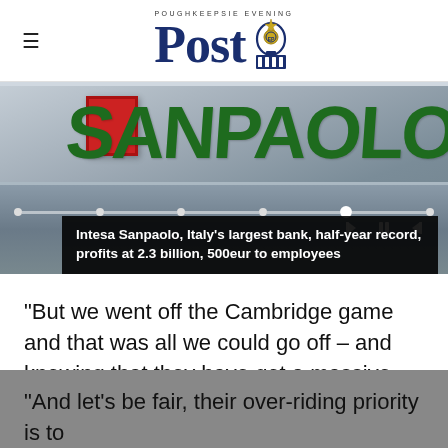Post (Poughkeepsie Evening Post logo)
[Figure (photo): Intesa Sanpaolo bank sign with green lettering on a metal facade, with media player controls overlaid]
Intesa Sanpaolo, Italy’s largest bank, half-year record, profits at 2.3 billion, 500eur to employees
“But we went off the Cambridge game and that was all we could go off – and knowing that they have got a massive game on Wednesday.
“And let’s be fair, their over-riding priority is to